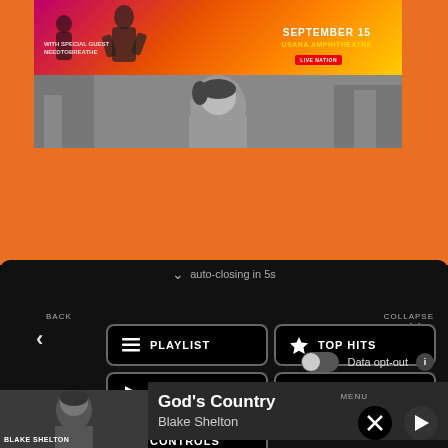[Figure (screenshot): Concert promotional banner: orange-pink gradient background with silhouette of performer, text 'WITH SPECIAL GUEST NEEDTOBREATHE', 'SEPTEMBER 15', 'USANA AMPHITHEATRE', 'LIVE NATION']
[Figure (photo): Black and white photo of a male artist (Blake Shelton) looking to the side against an urban background]
auto-closing in 5s
BACK
COLLAPSE
PLAYLIST
TOP HITS
LISTEN LIVE
MY VOTES
CONTROLS
Data opt-out
God's Country
Blake Shelton
MENU